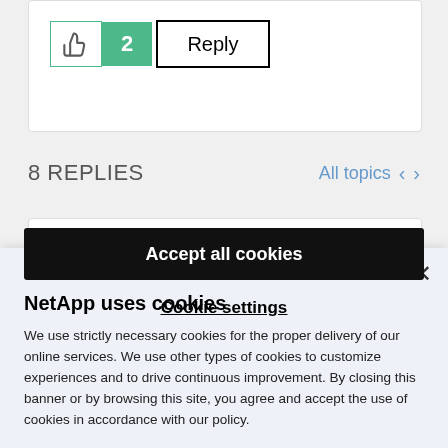[Figure (screenshot): Like button with thumbs up icon, count badge showing 2, and Reply button]
8 REPLIES
All topics
NetApp uses cookies
We use strictly necessary cookies for the proper delivery of our online services. We use other types of cookies to customize experiences and to drive continuous improvement. By closing this banner or by browsing this site, you agree and accept the use of cookies in accordance with our policy.
Accept all cookies
Cookie settings